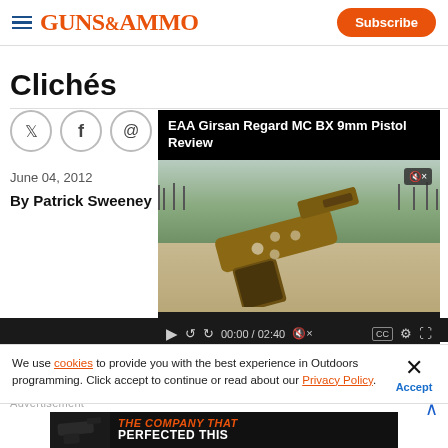GUNS&AMMO — Subscribe
Clichés
June 04, 2012
By Patrick Sweeney
[Figure (screenshot): Embedded video player showing EAA Girsan Regard MC BX 9mm Pistol Review with a pistol on a shooting bench, video controls showing 00:00 / 02:40]
We use cookies to provide you with the best experience in Outdoors programming. Click accept to continue or read about our Privacy Policy.
Advertisement
[Figure (photo): Advertisement banner: black background with a dark pistol image on left, red italic text THE COMPANY THAT and white bold text PERFECTED THIS]